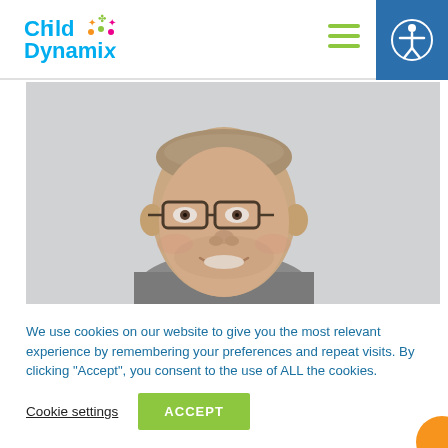[Figure (logo): Child Dynamix logo with colorful figures and blue/teal text]
[Figure (photo): Close-up photo of a smiling middle-aged man with glasses and short hair, against a light background]
We use cookies on our website to give you the most relevant experience by remembering your preferences and repeat visits. By clicking “Accept”, you consent to the use of ALL the cookies.
Cookie settings
ACCEPT